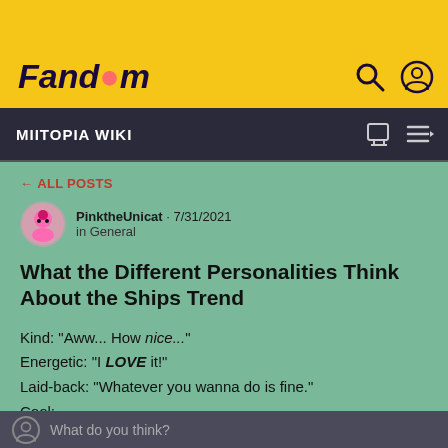Fandom
MIITOPIA WIKI
← ALL POSTS
PinktheUnicat · 7/31/2021 in General
What the Different Personalities Think About the Ships Trend
Kind: "Aww... How nice..."
Energetic: "I LOVE it!"
Laid-back: "Whatever you wanna do is fine."
Cool: ...
Airheaded: "That sounds fun! But what's an 'OTP'?"
What do you think?